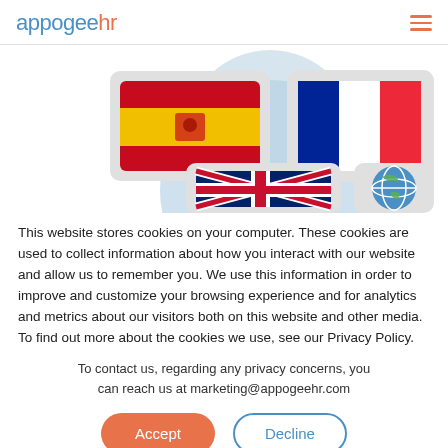appogeehr
[Figure (illustration): Illustration showing a globe shape with four country flag cards: Spain (red-yellow-red), France (blue-white-red), UK (Union Jack), and a world/globe icon card, arranged in a 2x2 grid pattern with a blue globe silhouette in the background.]
This website stores cookies on your computer. These cookies are used to collect information about how you interact with our website and allow us to remember you. We use this information in order to improve and customize your browsing experience and for analytics and metrics about our visitors both on this website and other media. To find out more about the cookies we use, see our Privacy Policy.
To contact us, regarding any privacy concerns, you can reach us at marketing@appogeehr.com